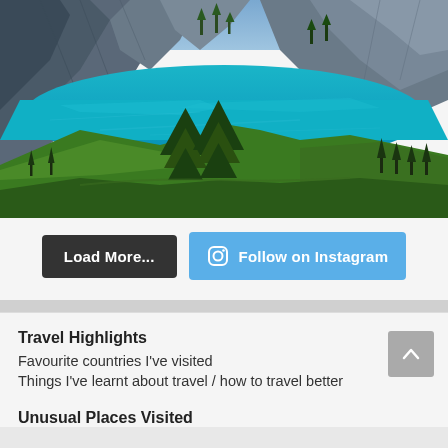[Figure (photo): Aerial photo of a vivid turquoise alpine lake surrounded by steep rocky cliffs and green hills with tall pine trees in the foreground]
Load More...
Follow on Instagram
Travel Highlights
Favourite countries I've visited
Things I've learnt about travel / how to travel better
Unusual Places Visited